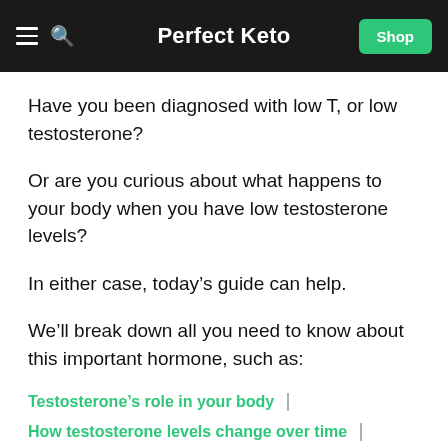Perfect Keto
Have you been diagnosed with low T, or low testosterone?
Or are you curious about what happens to your body when you have low testosterone levels?
In either case, today’s guide can help.
We’ll break down all you need to know about this important hormone, such as:
Testosterone’s role in your body
How testosterone levels change over time
Lifestyle factors that lower testosterone levels